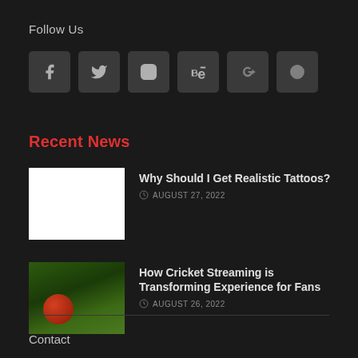Follow Us
[Figure (infographic): Row of six social media icons: Facebook, Twitter, Instagram, Behance, Google+, Dribbble on dark rounded square backgrounds]
Recent News
Why Should I Get Realistic Tattoos? — AUGUST 27, 2022
How Cricket Streaming is Transforming Experience for Fans — AUGUST 26, 2022
Contact